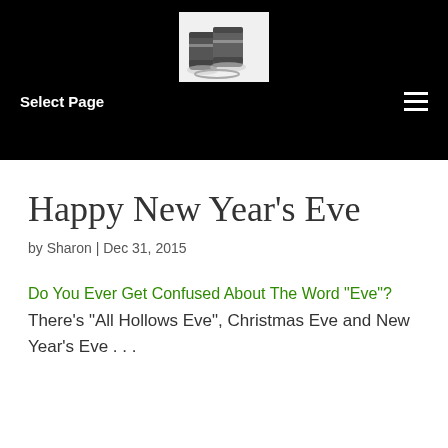[Figure (logo): Website logo: two dark battery/container objects with white base on a light background, set against a black header bar]
Select Page
Happy New Year’s Eve
by Sharon | Dec 31, 2015
Do You Ever Get Confused About The Word “Eve”?
There’s “All Hollows Eve”, Christmas Eve and New Year’s Eve . . .